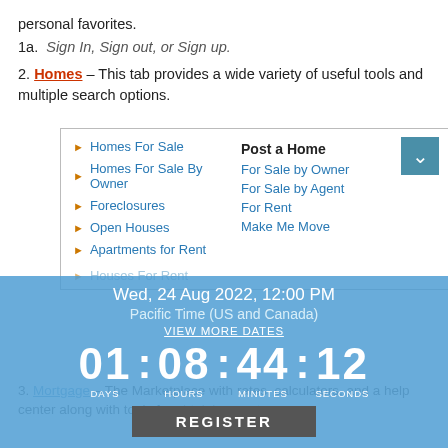personal favorites.
1a.  Sign In, Sign out, or Sign up.
2. Homes – This tab provides a wide variety of useful tools and multiple search options.
[Figure (screenshot): Homes navigation menu showing: Homes For Sale, Homes For Sale By Owner, Foreclosures, Open Houses, Apartments for Rent, Houses For Rent, Recent Home Sales on left; Post a Home, For Sale by Owner, For Sale by Agent, For Rent, Make Me Move on right. Overlaid with a blue countdown timer overlay showing Wed, 24 Aug 2022, 12:00 PM, Pacific Time (US and Canada), VIEW MORE DATES, countdown 01 days 08 hours 44 minutes 12 seconds, and a REGISTER button.]
3. Mortgage – The Marketplace with rates, calculators, and a help center along with tools for obtaining quotes.